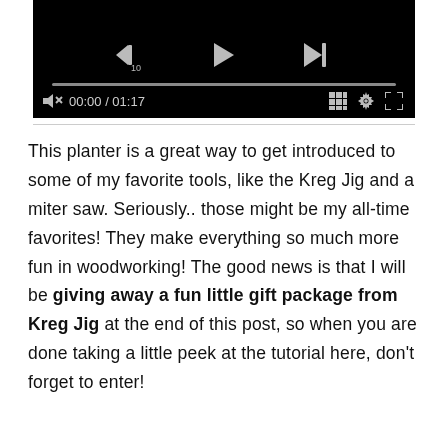[Figure (screenshot): Video player control bar with black background showing rewind 10s button, play button, skip-to-end button, progress bar, mute icon, time display 00:00 / 01:17, grid icon, settings gear icon, and fullscreen icon.]
This planter is a great way to get introduced to some of my favorite tools, like the Kreg Jig and a miter saw. Seriously.. those might be my all-time favorites! They make everything so much more fun in woodworking! The good news is that I will be giving away a fun little gift package from Kreg Jig at the end of this post, so when you are done taking a little peek at the tutorial here, don't forget to enter!